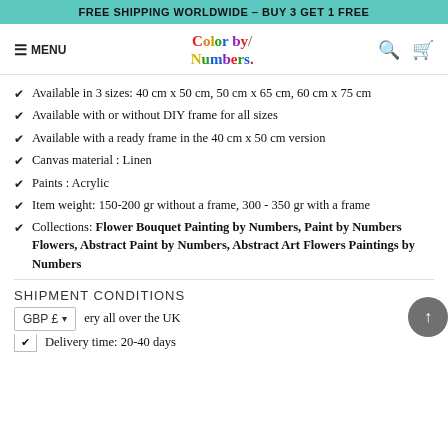FREE SHIPPING WORLDWIDE – BUY 3 GET 1 FREE
[Figure (logo): Color by Numbers logo in multicolor script font with hamburger menu, search and cart icons]
Available in 3 sizes: 40 cm x 50 cm, 50 cm x 65 cm, 60 cm x 75 cm
Available with or without DIY frame for all sizes
Available with a ready frame in the 40 cm x 50 cm version
Canvas material : Linen
Paints : Acrylic
Item weight: 150-200 gr without a frame, 300 - 350 gr with a frame
Collections: Flower Bouquet Painting by Numbers, Paint by Numbers Flowers, Abstract Paint by Numbers, Abstract Art Flowers Paintings by Numbers
SHIPMENT CONDITIONS
GBP £   ery all over the UK
Delivery time: 20-40 days